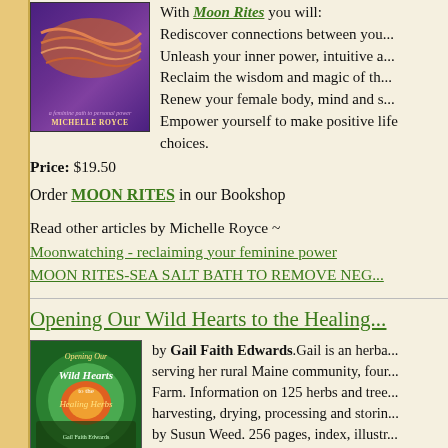[Figure (illustration): Book cover of Moon Rites with purple background and wave design]
With Moon Rites you will: Rediscover connections between you... Unleash your inner power, intuitive a... Reclaim the wisdom and magic of the... Renew your female body, mind and s... Empower yourself to make positive life choices.
Price: $19.50
Order MOON RITES in our Bookshop
Read other articles by Michelle Royce ~ Moonwatching - reclaiming your feminine power MOON RITES-SEA SALT BATH TO REMOVE NEG...
Opening Our Wild Hearts to the Healing...
[Figure (illustration): Book cover of Opening Our Wild Hearts to the Healing Herbs]
by Gail Faith Edwards. Gail is an herba... serving her rural Maine community, four... Farm. Information on 125 herbs and tree... harvesting, drying, processing and storin... by Susun Weed. 256 pages, index, illustr...